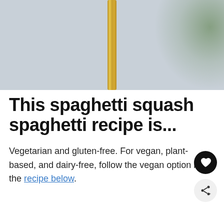[Figure (photo): Blurred photo showing a gold/brass vertical pole or stand against a light grey background, with a blurred green plant visible in the upper right corner.]
This spaghetti squash spaghetti recipe is...
Vegetarian and gluten-free. For vegan, plant-based, and dairy-free, follow the vegan option in the recipe below.